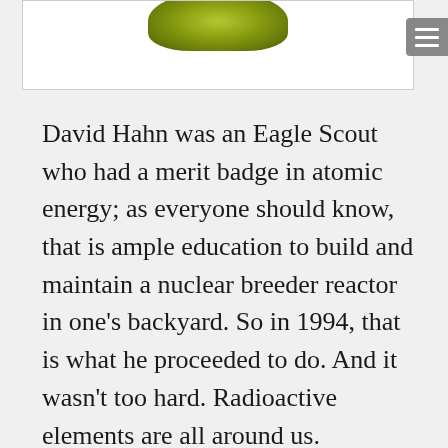[Figure (photo): Partial view of a green spiky object (likely a radioactive or atomic-themed image) at the top of the page, partially cropped]
David Hahn was an Eagle Scout who had a merit badge in atomic energy; as everyone should know, that is ample education to build and maintain a nuclear breeder reactor in one’s backyard. So in 1994, that is what he proceeded to do. And it wasn’t too hard. Radioactive elements are all around us.
Take, for example, a household smoke detector. More than 90% of the smoke detectors